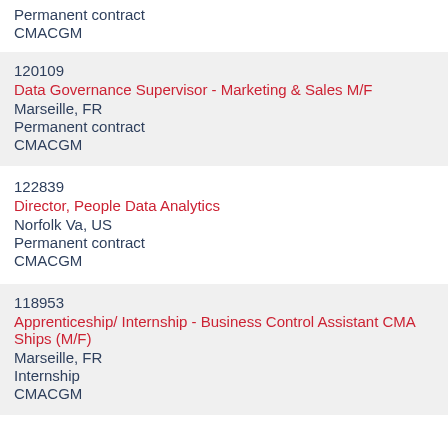Permanent contract
CMACGM
120109
Data Governance Supervisor - Marketing & Sales M/F
Marseille, FR
Permanent contract
CMACGM
122839
Director, People Data Analytics
Norfolk Va, US
Permanent contract
CMACGM
118953
Apprenticeship/ Internship - Business Control Assistant CMA Ships (M/F)
Marseille, FR
Internship
CMACGM